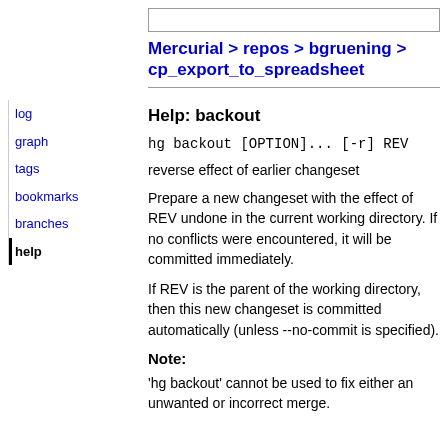Mercurial > repos > bgruening > cp_export_to_spreadsheet
log
graph
tags
bookmarks
branches
help
Help: backout
hg backout [OPTION]... [-r] REV
reverse effect of earlier changeset
Prepare a new changeset with the effect of REV undone in the current working directory. If no conflicts were encountered, it will be committed immediately.
If REV is the parent of the working directory, then this new changeset is committed automatically (unless --no-commit is specified).
Note:
'hg backout' cannot be used to fix either an unwanted or incorrect merge.